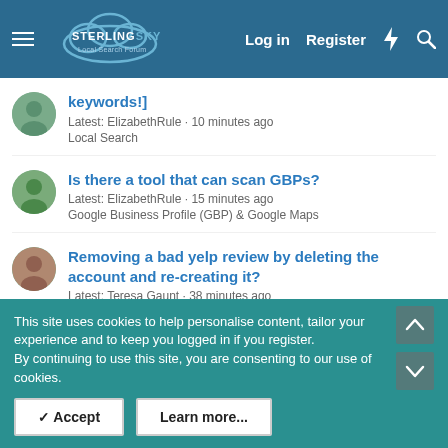[Figure (screenshot): Sterling Sky Local Search Forum navigation bar with hamburger menu, logo, Log in, Register, and search/notification icons]
keywords!]
Latest: ElizabethRule · 10 minutes ago
Local Search
Is there a tool that can scan GBPs?
Latest: ElizabethRule · 15 minutes ago
Google Business Profile (GBP) & Google Maps
Removing a bad yelp review by deleting the account and re-creating it?
Latest: Teresa Gaunt · 38 minutes ago
Local Search
Learning from Failure
Latest: tarentino75 · 54 minutes ago
This site uses cookies to help personalise content, tailor your experience and to keep you logged in if you register.
By continuing to use this site, you are consenting to our use of cookies.